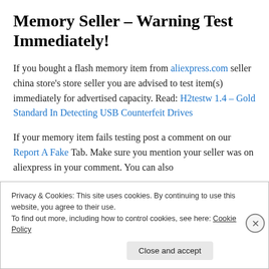Memory Seller – Warning Test Immediately!
If you bought a flash memory item from aliexpress.com seller china store's store seller you are advised to test item(s) immediately for advertised capacity. Read: H2testw 1.4 – Gold Standard In Detecting USB Counterfeit Drives
If your memory item fails testing post a comment on our Report A Fake Tab. Make sure you mention your seller was on aliexpress in your comment. You can also
Privacy & Cookies: This site uses cookies. By continuing to use this website, you agree to their use.
To find out more, including how to control cookies, see here: Cookie Policy